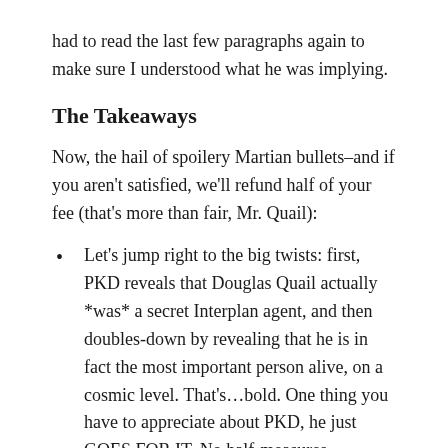had to read the last few paragraphs again to make sure I understood what he was implying.
The Takeaways
Now, the hail of spoilery Martian bullets–and if you aren't satisfied, we'll refund half of your fee (that's more than fair, Mr. Quail):
Let's jump right to the big twists: first, PKD reveals that Douglas Quail actually *was* a secret Interplan agent, and then doubles-down by revealing that he is in fact the most important person alive, on a cosmic level. That's…bold. One thing you have to appreciate about PKD, he just GOES FOR IT. No half-measures.
The...